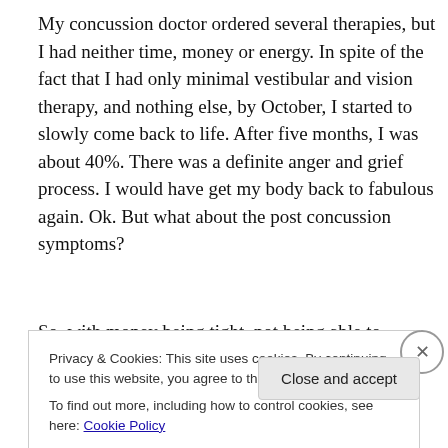My concussion doctor ordered several therapies, but I had neither time, money or energy. In spite of the fact that I had only minimal vestibular and vision therapy, and nothing else, by October, I started to slowly come back to life. After five months, I was about 40%. There was a definite anger and grief process. I would have get my body back to fabulous again. Ok. But what about the post concussion symptoms?
So, with money being tight, not being able to function,
Privacy & Cookies: This site uses cookies. By continuing to use this website, you agree to their use.
To find out more, including how to control cookies, see here: Cookie Policy
Close and accept